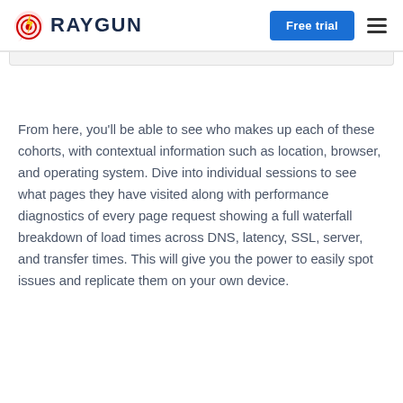RAYGUN | Free trial
[Figure (screenshot): Partial screenshot of a UI element, light gray rounded rectangle strip visible at top of content area]
From here, you'll be able to see who makes up each of these cohorts, with contextual information such as location, browser, and operating system. Dive into individual sessions to see what pages they have visited along with performance diagnostics of every page request showing a full waterfall breakdown of load times across DNS, latency, SSL, server, and transfer times. This will give you the power to easily spot issues and replicate them on your own device.